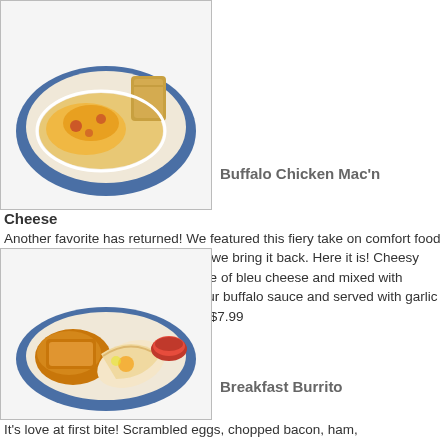[Figure (photo): Photo of Buffalo Chicken Mac'n Cheese dish on a blue-rimmed plate with garlic toast]
Buffalo Chicken Mac'n Cheese
Another favorite has returned! We featured this fiery take on comfort food in the fall, and you demanded that we bring it back. Here it is! Cheesy elbow pasta blended with a sprinkle of bleu cheese and mixed with seasoned chicken. Drizzled with our buffalo sauce and served with garlic toast and your choice of one side. $7.99
[Figure (photo): Photo of Breakfast Burrito on a blue-rimmed plate with hash browns and salsa]
Breakfast Burrito
It's love at first bite! Scrambled eggs, chopped bacon, ham,